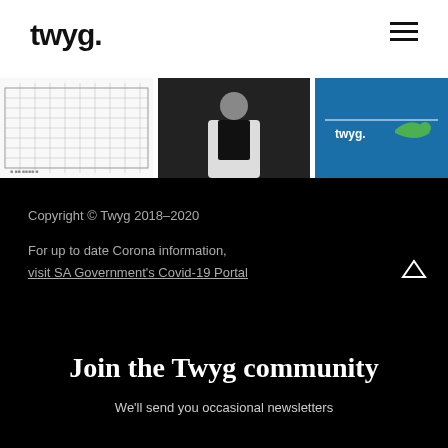twyg.
[Figure (screenshot): Three-panel image strip: left panel shows a blueprint/grid diagram, center panel shows a person in white jacket on dark background, right panel shows twyg. logo on blue background]
Copyright © Twyg 2018–2020
For up to date Corona information, visit SA Government's Covid-19 Portal
Join the Twyg community
We'll send you occasional newsletters